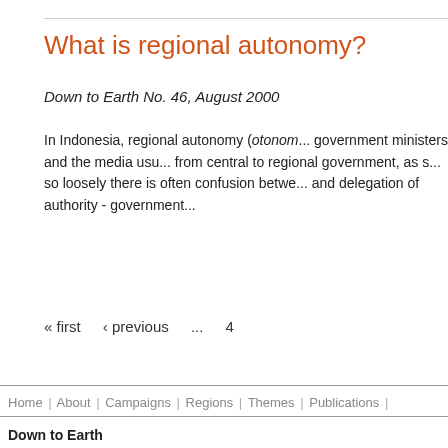What is regional autonomy?
Down to Earth No. 46, August 2000
In Indonesia, regional autonomy (otonom... government ministers and the media usu... from central to regional government, as s... so loosely there is often confusion betwe... and delegation of authority - government...
« first   ‹ previous   ...   4
Home | About | Campaigns | Regions | Themes | Publications |
Down to Earth
Tel/fax: +44 (0)16977 46266
Email: dte@gn.apc.org